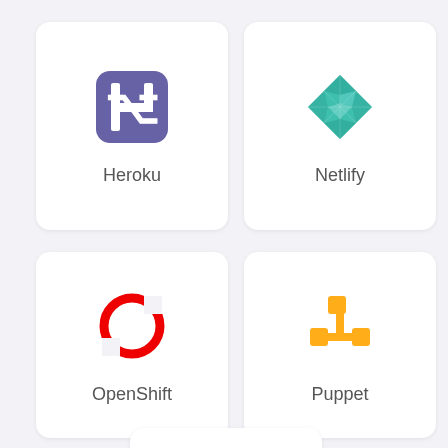[Figure (logo): Heroku logo - purple square with white H bracket symbol]
Heroku
[Figure (logo): Netlify logo - teal/cyan geometric diamond shape]
Netlify
[Figure (logo): OpenShift logo - red circular arrows icon]
OpenShift
[Figure (logo): Puppet logo - orange node/graph connector symbol]
Puppet